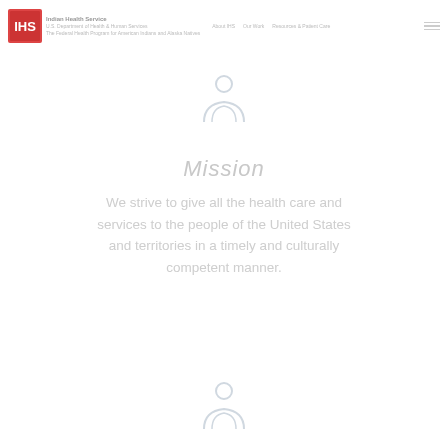[Figure (logo): Government or agency logo with icon and navigation links]
[Figure (illustration): Light gray icon of a person/figure at top center of page]
Mission
We strive to give all the health care and services to the people of the United States and territories in a timely and culturally competent manner.
[Figure (illustration): Light gray icon of a person/figure at bottom center of page]